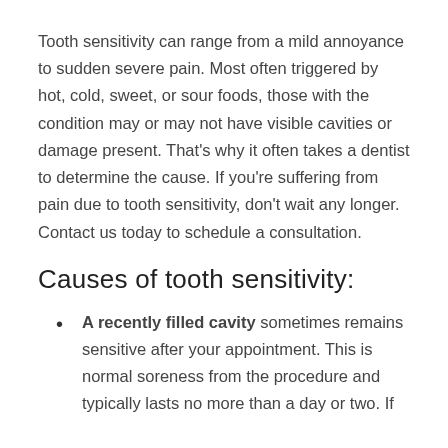Tooth sensitivity can range from a mild annoyance to sudden severe pain. Most often triggered by hot, cold, sweet, or sour foods, those with the condition may or may not have visible cavities or damage present. That's why it often takes a dentist to determine the cause. If you're suffering from pain due to tooth sensitivity, don't wait any longer. Contact us today to schedule a consultation.
Causes of tooth sensitivity:
A recently filled cavity sometimes remains sensitive after your appointment. This is normal soreness from the procedure and typically lasts no more than a day or two. If